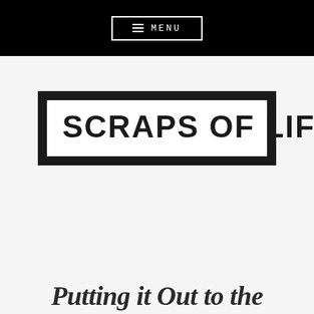≡ MENU
SCRAPS OF LIFE
Putting it Out to the